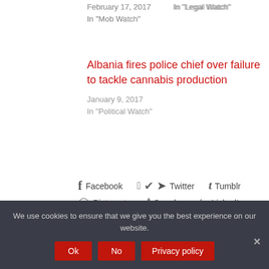February 17, 2017
In "Mob Watch"
In "Legal Watch"
Albania fires police chief over failure to tackle cannabis production
January 9, 2017
In "Political Watch"
Facebook
Twitter
Tumblr
Pinterest
Google+
LinkedIn
E-Mail
We use cookies to ensure that we give you the best experience on our website.